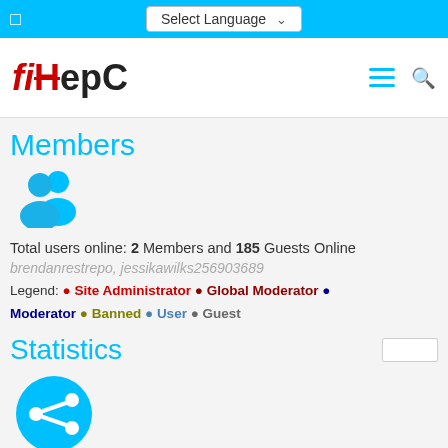Select Language
[Figure (logo): fixHepC logo with red stylized fi and X, HepC in black]
Members
[Figure (illustration): Blue people/members icon (two silhouettes)]
Total users online: 2 Members and 185 Guests Online
brendanrestrepo, jessikawilks256903689
Legend: Site Administrator Global Moderator Moderator Banned User Guest
Statistics
[Figure (illustration): Cyan circular share/connect icon with white arrows]